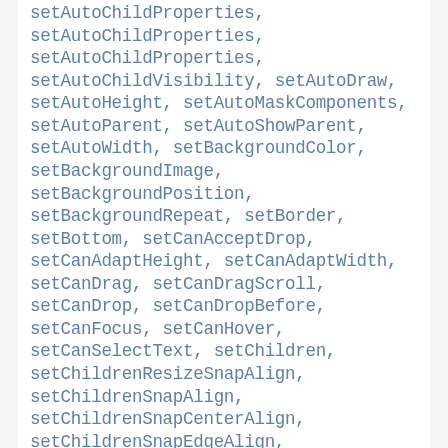setAutoChildProperties, setAutoChildProperties, setAutoChildProperties, setAutoChildVisibility, setAutoDraw, setAutoHeight, setAutoMaskComponents, setAutoParent, setAutoShowParent, setAutoWidth, setBackgroundColor, setBackgroundImage, setBackgroundPosition, setBackgroundRepeat, setBorder, setBottom, setCanAcceptDrop, setCanAdaptHeight, setCanAdaptWidth, setCanDrag, setCanDragScroll, setCanDrop, setCanDropBefore, setCanFocus, setCanHover, setCanSelectText, setChildren, setChildrenResizeSnapAlign, setChildrenSnapAlign, setChildrenSnapCenterAlign, setChildrenSnapEdgeAlign, setChildrenSnapResizeToGrid,